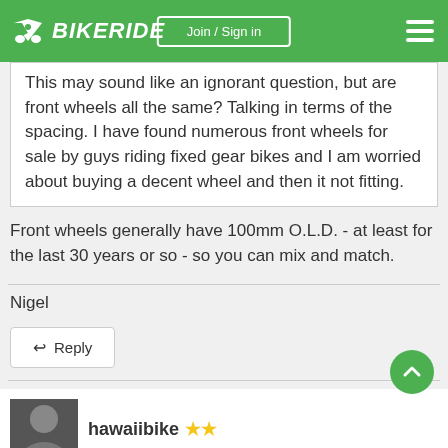BIKERIDE | Join / Sign in
This may sound like an ignorant question, but are front wheels all the same? Talking in terms of the spacing. I have found numerous front wheels for sale by guys riding fixed gear bikes and I am worried about buying a decent wheel and then it not fitting.
Front wheels generally have 100mm O.L.D. - at least for the last 30 years or so - so you can mix and match.
Nigel
↩ Reply
hawaiibike ★★